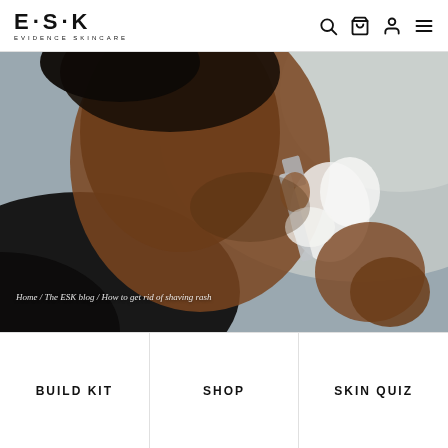E·S·K EVIDENCE SKINCARE
[Figure (photo): Close-up photo of a man shaving his neck/jaw area with a straight razor, shaving foam visible, dark-skinned man, back/side view, light background]
Home / The ESK blog / How to get rid of shaving rash
BUILD KIT
SHOP
SKIN QUIZ